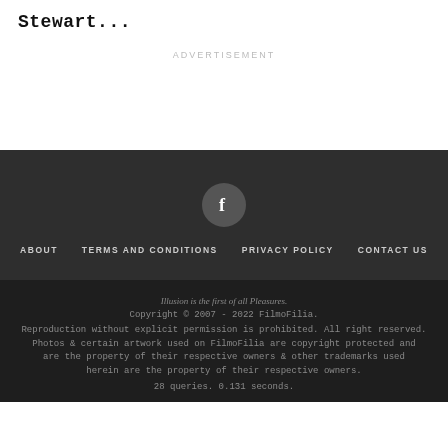Stewart...
ADVERTISEMENT
[Figure (logo): Facebook logo icon in a dark circle]
ABOUT   TERMS AND CONDITIONS   PRIVACY POLICY   CONTACT US
Illusion is the first of all Pleasures.
Copyright © 2007 - 2022 FilmoFilia.
Reproduction without explicit permission is prohibited. All right reserved. Photos & certain artwork used on FilmoFilia are copyright protected and are the property of their respective owners & other trademarks used herein are the property of their respective owners.
28 queries. 0.131 seconds.